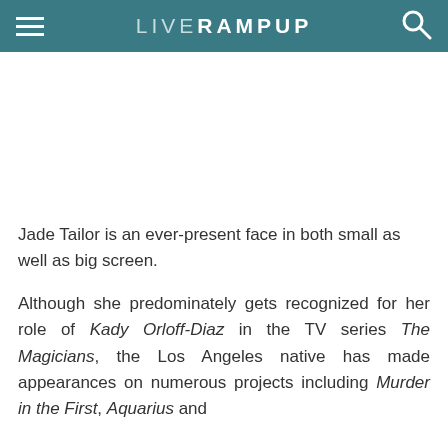LIVERAMPUP
Jade Tailor is an ever-present face in both small as well as big screen.
Although she predominately gets recognized for her role of Kady Orloff-Diaz in the TV series The Magicians, the Los Angeles native has made appearances on numerous projects including Murder in the First, Aquarius and